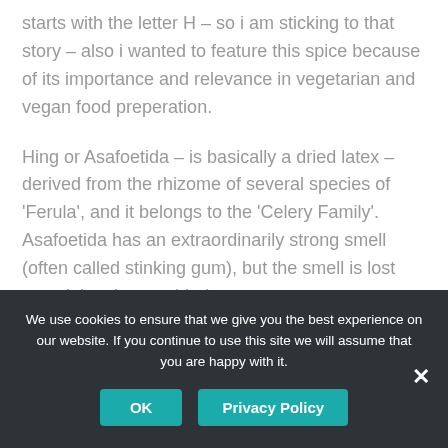starts with the letter H – so i am sticking to that story – also i wanted to feature this spice because of its importance and relevance in vegetarian and vegan food preperation.
Hing or Asafoetida – is basically a dried latex – derived from the rhizome of several species of 'Ferula', and it belongs to the 'Celery Family'. Asafoetida has an extraordinarily strong smell (often called stinking gum), but the smell is lost once it has been added
We use cookies to ensure that we give you the best experience on our website. If you continue to use this site we will assume that you are happy with it.